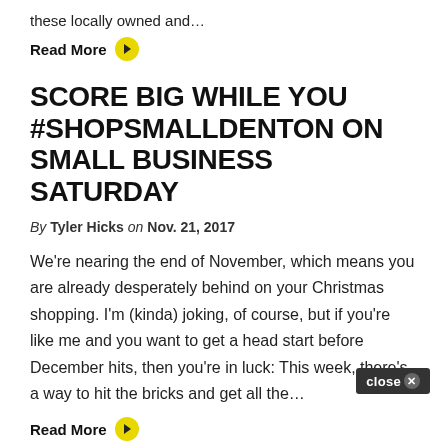these locally owned and…
Read More
SCORE BIG WHILE YOU #SHOPSMALLDENTON ON SMALL BUSINESS SATURDAY
By Tyler Hicks on Nov. 21, 2017
We're nearing the end of November, which means you are already desperately behind on your Christmas shopping. I'm (kinda) joking, of course, but if you're like me and you want to get a head start before December hits, then you're in luck: This week, there's a way to hit the bricks and get all the…
Read More